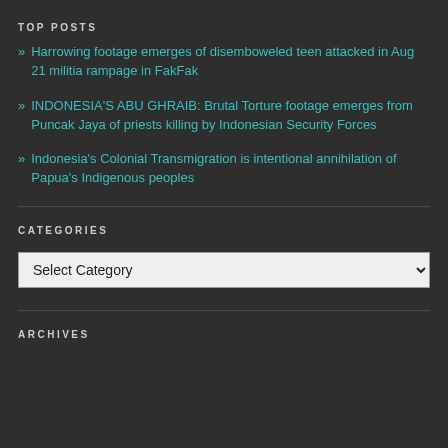TOP POSTS
Harrowing footage emerges of disemboweled teen attacked in Aug 21 militia rampage in FakFak
INDONESIA'S ABU GHRAIB: Brutal Torture footage emerges from Puncak Jaya of priests killing by Indonesian Security Forces
Indonesia's Colonial Transmigration is intentional annihilation of Papua's Indigenous peoples
CATEGORIES
Select Category
ARCHIVES